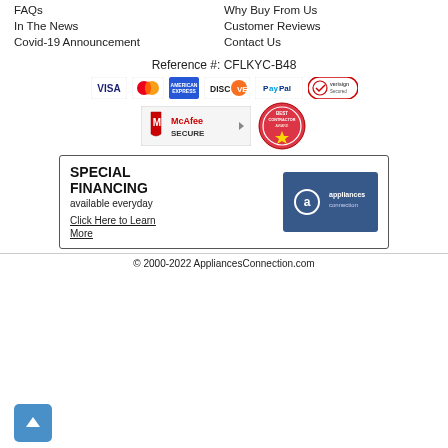FAQs
Why Buy From Us
In The News
Customer Reviews
Covid-19 Announcement
Contact Us
Reference #: CFLKYC-B48
[Figure (logo): Payment method logos: VISA, Mastercard, American Express, Discover, PayPal, VeriSign Secured]
[Figure (logo): McAfee SECURE badge and Best Contractor Award badge]
SPECIAL FINANCING
available everyday
Click Here to Learn More
[Figure (logo): Appliances Connection logo on blue background]
© 2000-2022 AppliancesConnection.com